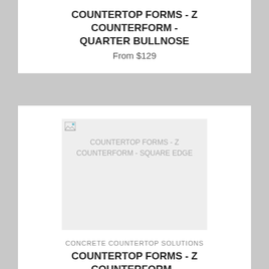COUNTERTOP FORMS - Z COUNTERFORM - QUARTER BULLNOSE
From $129
[Figure (photo): Broken/missing image placeholder for COUNTERTOP FORMS - Z COUNTERFORM - SQUARE EDGE]
CONCRETE COUNTERTOP SOLUTIONS
COUNTERTOP FORMS - Z COUNTERFORM - SQUARE EDGE
From $149